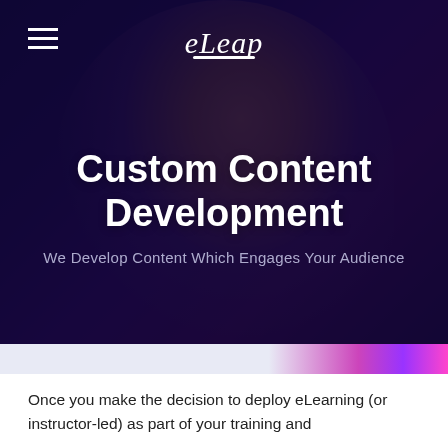eLeap
Custom Content Development
We Develop Content Which Engages Your Audience
Once you make the decision to deploy eLearning (or instructor-led) as part of your training and